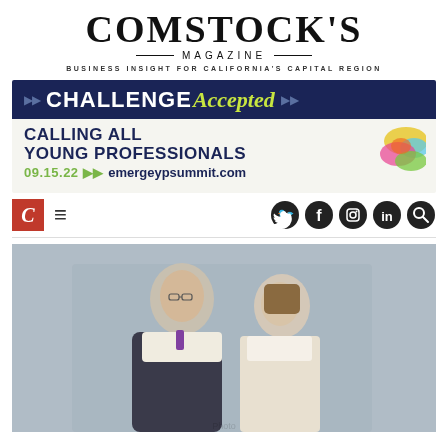COMSTOCK'S MAGAZINE — BUSINESS INSIGHT FOR CALIFORNIA'S CAPITAL REGION
[Figure (infographic): Challenge Accepted banner advertisement — blue top bar with 'CHALLENGE Accepted' in white and yellow-green script, bottom section reads 'CALLING ALL YOUNG PROFESSIONALS 09.15.22 >> emergeypsummit.com' with colorful paint splash graphic on right]
[Figure (screenshot): Website navigation bar with red C logo, hamburger menu, and social media icons for Twitter, Facebook, Instagram, LinkedIn, and search]
[Figure (photo): Two people (a man and a woman) posing together, both wearing decorative scarves with cityscape pattern, man in suit with striped tie, woman in striped top, gray background]